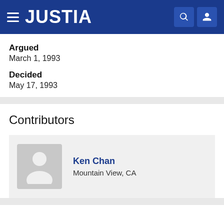JUSTIA
Argued
March 1, 1993
Decided
May 17, 1993
Contributors
Ken Chan
Mountain View, CA
Search this Case